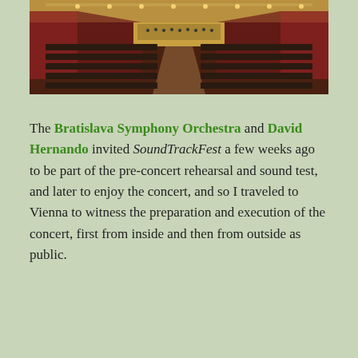[Figure (photo): Interior of a concert hall viewed from the back looking toward the stage, with rows of dark seats on both sides, ornate walls with red panels and decorative lighting, and an orchestra on stage.]
The Bratislava Symphony Orchestra and David Hernando invited SoundTrackFest a few weeks ago to be part of the pre-concert rehearsal and sound test, and later to enjoy the concert, and so I traveled to Vienna to witness the preparation and execution of the concert, first from inside and then from outside as public.